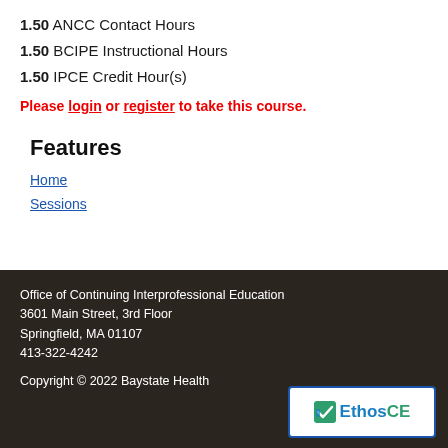1.50 ANCC Contact Hours
1.50 BCIPE Instructional Hours
1.50 IPCE Credit Hour(s)
Please login or register to take this course.
Features
Home
Sessions
Office of Continuing Interprofessional Education
3601 Main Street, 3rd Floor
Springfield, MA 01107
413-322-4242

Copyright © 2022 Baystate Health
[Figure (logo): EthosCE logo with teal/green checkmark icon and text 'EthosCE' in dark color]